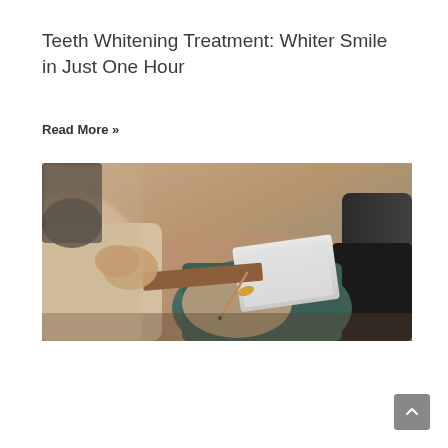Teeth Whitening Treatment: Whiter Smile in Just One Hour
Read More »
[Figure (photo): People sitting around a table in a meeting or consultation setting, one person writing with a pen on paper, others with hands clasped, blurred background with warm and cool tones.]